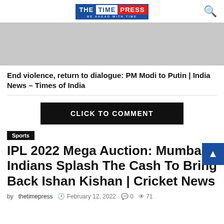THE TIME PRESS — BE AHEAD WITH TIME
[Figure (other): Grey advertisement placeholder banner]
End violence, return to dialogue: PM Modi to Putin | India News – Times of India
CLICK TO COMMENT
Sports
IPL 2022 Mega Auction: Mumbai Indians Splash The Cash To Bring Back Ishan Kishan | Cricket News
by thetimepress  February 12, 2022  0  71